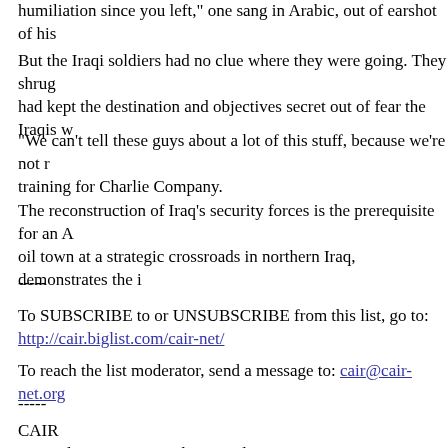humiliation since you left," one sang in Arabic, out of earshot of his
But the Iraqi soldiers had no clue where they were going. They shrug had kept the destination and objectives secret out of fear the Iraqis w
"We can't tell these guys about a lot of this stuff, because we're not r training for Charlie Company.
The reconstruction of Iraq's security forces is the prerequisite for an A oil town at a strategic crossroads in northern Iraq, demonstrates the i
-----
To SUBSCRIBE to or UNSUBSCRIBE from this list, go to:
http://cair.biglist.com/cair-net/
To reach the list moderator, send a message to: cair@cair-net.org
-----
CAIR
Council on American-Islamic Relations
453 New Jersey Avenue, S.E.
Washington, D.C. 20003
Tel: 202-488-8787, 202-744-7726